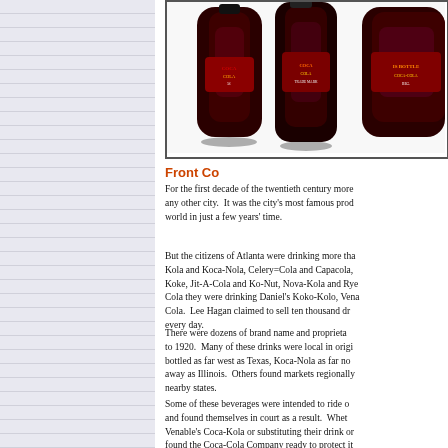[Figure (photo): Partial view of Coca-Cola bottles or similar dark cola bottles, cropped at top, showing labels and dark red/brown coloring against white background, framed with a dark border]
Front Co
For the first decade of the twentieth century more... any other city.  It was the city's most famous prod... world in just a few years' time.
But the citizens of Atlanta were drinking more tha... Kola and Koca-Nola, Celery=Cola and Capacola,... Koke, Jit-A-Cola and Ko-Nut, Nova-Kola and Rye... Cola they were drinking Daniel's Koko-Kolo, Vena... Cola.  Lee Hagan claimed to sell ten thousand dr... every day.
There were dozens of brand name and proprieta... to 1920.  Many of these drinks were local in origi... bottled as far west as Texas, Koca-Nola as far no... away as Illinois.  Others found markets regionally... nearby states.
Some of these beverages were intended to ride o... and found themselves in court as a result.  Whet... Venable's Coca-Kola or substituting their drink or... found the Coca-Cola Company ready to protect it